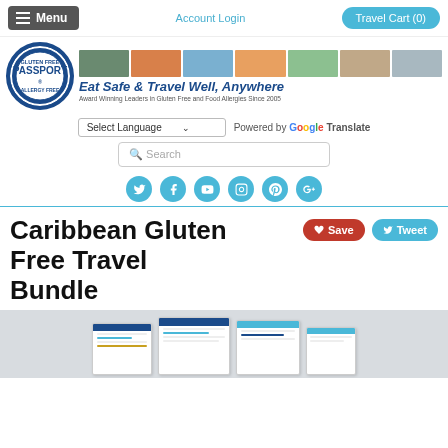Menu | Account Login | Travel Cart (0)
[Figure (logo): Gluten Free Passport Allergy Free logo with banner photos and tagline: Eat Safe & Travel Well, Anywhere. Award Winning Leaders in Gluten Free and Food Allergies Since 2005]
Select Language | Powered by Google Translate | Search
[Figure (infographic): Social media icons: Twitter, Facebook, YouTube, Instagram, Pinterest, Google+]
Caribbean Gluten Free Travel Bundle
[Figure (photo): Stack of printed travel bundle documents/cards]